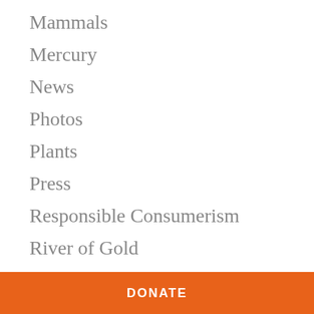Mammals
Mercury
News
Photos
Plants
Press
Responsible Consumerism
River of Gold
Ron Haviv
Student Voices
Sustainability
DONATE